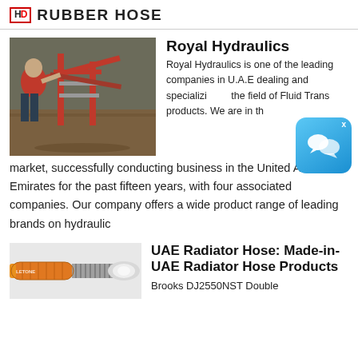HD RUBBER HOSE
[Figure (photo): Person operating red metal equipment/cart outdoors on dirt ground]
Royal Hydraulics
Royal Hydraulics is one of the leading companies in U.A.E dealing and specializing in the field of Fluid Transfer products. We are in the market, successfully conducting business in the United Arab Emirates for the past fifteen years, with four associated companies. Our company offers a wide product range of leading brands on hydraulic
[Figure (photo): Orange and grey industrial rubber hose coil]
UAE Radiator Hose: Made-in-UAE Radiator Hose Products
Brooks DJ2550NST Double